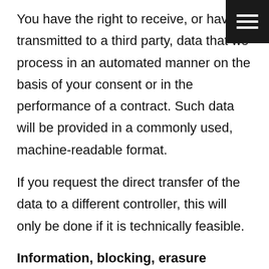You have the right to receive, or have transmitted to a third party, data that we process in an automated manner on the basis of your consent or in the performance of a contract. Such data will be provided in a commonly used, machine-readable format.
If you request the direct transfer of the data to a different controller, this will only be done if it is technically feasible.
Information, blocking, erasure
Under the applicable statutory provisions, you are entitled to receive information at any time and at no charge about your stored personal data, its origin, recipients and the purpose of data processing and,